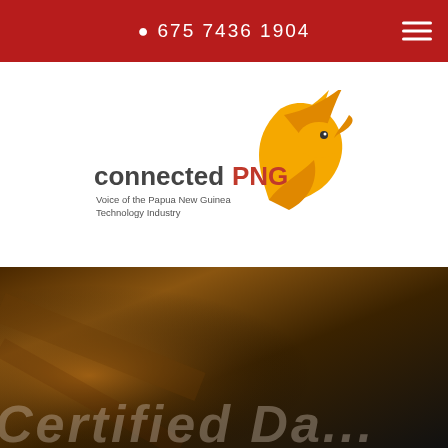675 7436 1904
[Figure (logo): connectedPNG logo — stylized golden bird of paradise with text 'connectedPNG' and tagline 'Voice of the Papua New Guinea Technology Industry']
[Figure (photo): Dark banner/hero image with brownish blurred background and large faded italic text partially visible at bottom]